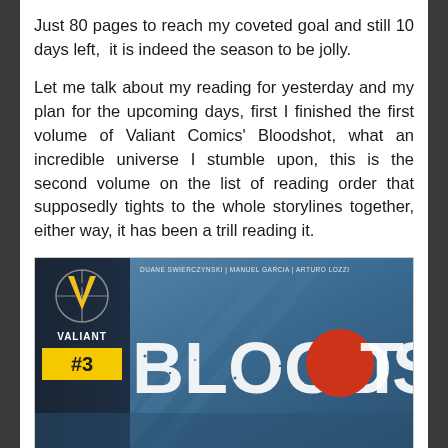Just 80 pages to reach my coveted goal and still 10 days left,  it is indeed the season to be jolly.
Let me talk about my reading for yesterday and my plan for the upcoming days, first I finished the first volume of Valiant Comics' Bloodshot, what an incredible universe I stumble upon, this is the second volume on the list of reading order that supposedly tights to the whole storylines together, either way, it has been a trill reading it.
[Figure (illustration): Comic book cover for Bloodshot #3 by Valiant Comics. Dark blue background with large distressed white text reading BLOODSHOT with a red circle replacing the letter O. Top left shows the Valiant logo (gold V with crosshair). Bottom left shows a yellow badge with #3. Credits at top: Duane Swierczynski, Manuel Garcia, Arturo Lozzi.]